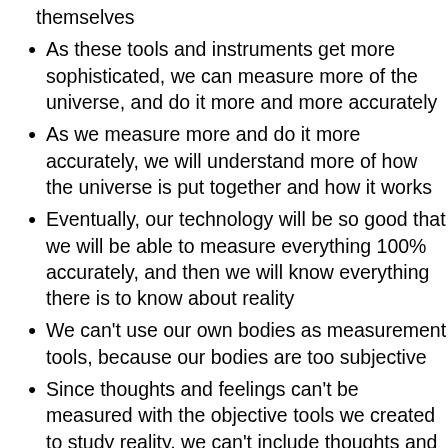themselves
As these tools and instruments get more sophisticated, we can measure more of the universe, and do it more and more accurately
As we measure more and do it more accurately, we will understand more of how the universe is put together and how it works
Eventually, our technology will be so good that we will be able to measure everything 100% accurately, and then we will know everything there is to know about reality
We can't use our own bodies as measurement tools, because our bodies are too subjective
Since thoughts and feelings can't be measured with the objective tools we created to study reality, we can't include thoughts and feelings in that study...